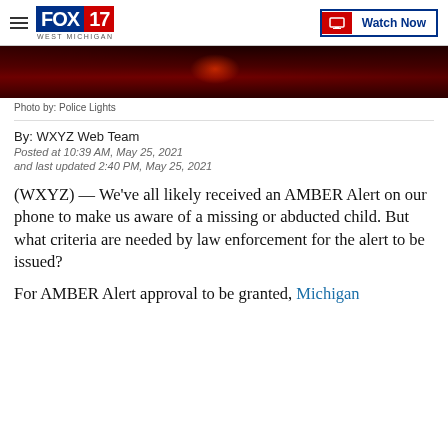FOX 17 WEST MICHIGAN | Watch Now
[Figure (photo): Dark red photo showing police lights, cropped at top]
Photo by: Police Lights
By: WXYZ Web Team
Posted at 10:39 AM, May 25, 2021
and last updated 2:40 PM, May 25, 2021
(WXYZ) — We've all likely received an AMBER Alert on our phone to make us aware of a missing or abducted child. But what criteria are needed by law enforcement for the alert to be issued?
For AMBER Alert approval to be granted, Michigan